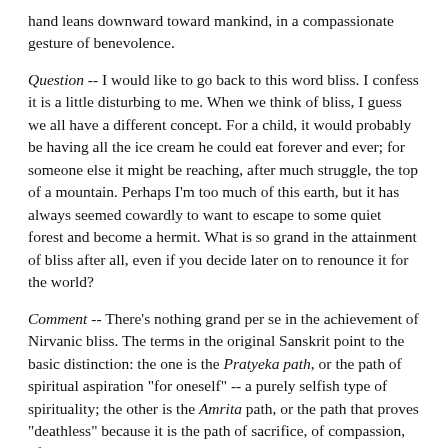hand leans downward toward mankind, in a compassionate gesture of benevolence.
Question -- I would like to go back to this word bliss. I confess it is a little disturbing to me. When we think of bliss, I guess we all have a different concept. For a child, it would probably be having all the ice cream he could eat forever and ever; for someone else it might be reaching, after much struggle, the top of a mountain. Perhaps I'm too much of this earth, but it has always seemed cowardly to want to escape to some quiet forest and become a hermit. What is so grand in the attainment of bliss after all, even if you decide later on to renounce it for the world?
Comment -- There's nothing grand per se in the achievement of Nirvanic bliss. The terms in the original Sanskrit point to the basic distinction: the one is the Pratyeka path, or the path of spiritual aspiration "for oneself" -- a purely selfish type of spirituality; the other is the Amrita path, or the path that proves "deathless" because it is the path of sacrifice, of compassion, of service.
Let me try to put the matter very simply. Suppose you had an intuition which led you to make some scientific discovery, and which you believed could greatly affect the world for good. You could do one of two things: you could keep it all to yourself so that when you completed it you could put it on the market and make a